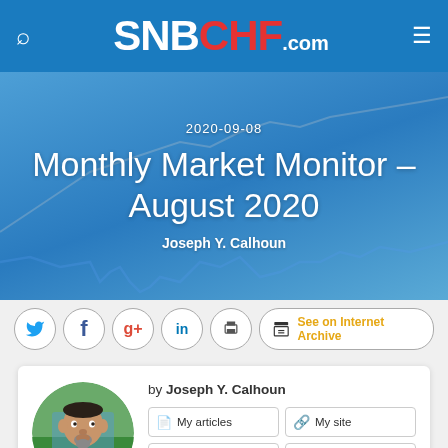SNBCHF.com
2020-09-08
Monthly Market Monitor – August 2020
Joseph Y. Calhoun
[Figure (screenshot): Social sharing buttons: Twitter, Facebook, Google+, LinkedIn, Print, and See on Internet Archive button]
by Joseph Y. Calhoun
[Figure (photo): Headshot of Joseph Y. Calhoun, a middle-aged man in a suit with a goatee]
My articles  My site  About me  My videos  My books